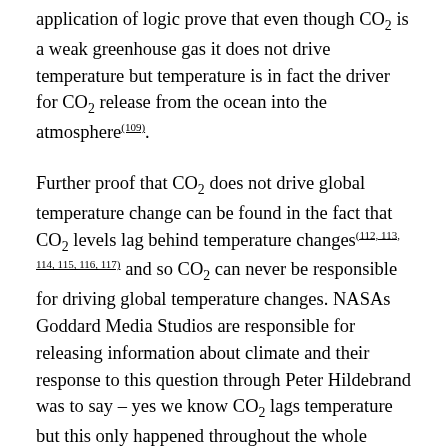application of logic prove that even though CO₂ is a weak greenhouse gas it does not drive temperature but temperature is in fact the driver for CO₂ release from the ocean into the atmosphere(109).
Further proof that CO₂ does not drive global temperature change can be found in the fact that CO₂ levels lag behind temperature changes(112, 113, 114, 115, 116, 117) and so CO₂ can never be responsible for driving global temperature changes. NASAs Goddard Media Studios are responsible for releasing information about climate and their response to this question through Peter Hildebrand was to say – yes we know CO₂ lags temperature but this only happened throughout the whole history of the planet, now however, as a result of industrialisation this doesn't happen anymore because we have caused a fundamental change to how the Earth works but no science papers are offered in support for this assertion. This is a strange claim for a scientist to